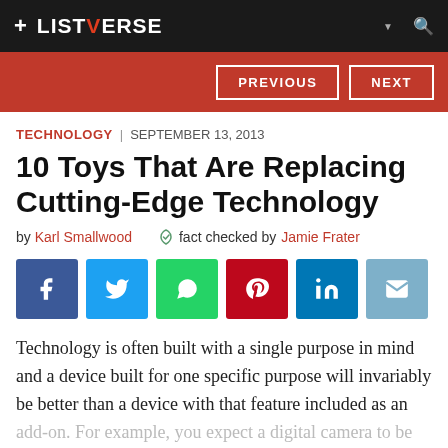+ LISTVERSE
[Figure (screenshot): Previous and Next navigation buttons on red banner]
TECHNOLOGY | SEPTEMBER 13, 2013
10 Toys That Are Replacing Cutting-Edge Technology
by Karl Smallwood  fact checked by Jamie Frater
[Figure (infographic): Social sharing buttons: Facebook, Twitter, WhatsApp, Pinterest, LinkedIn, Email]
Technology is often built with a single purpose in mind and a device built for one specific purpose will invariably be better than a device with that feature included as an add-on. For example, you expect a digital camera to be better than the camera bundled with your smartphone